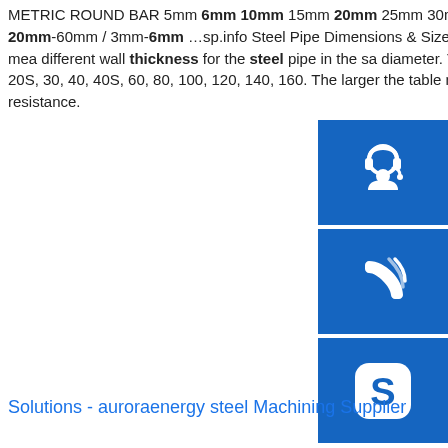METRIC ROUND BAR 5mm 6mm 10mm 15mm 20mm 25mm 30mm 35mm 40mm ... Low-price Mild Steel Angle Iron Steel Section 20mm-60mm / 3mm-6mm …sp.info Steel Pipe Dimensions & Sizes Chart (Schedule 40 Pipe ...Dec 12, 2018 · Different pipe schedule means different wall thickness for the steel pipe in the same diameter. The most frequently indications of schedule: SCH 5, 5S, 10, 10S, 20, 20S, 30, 40, 40S, 60, 80, 100, 120, 140, 160. The larger the table number, the thicker the surface pipe wall, the higher the pressure resistance.
[Figure (illustration): Blue sidebar icons: headset/customer service icon, phone/call icon, Skype icon, each on a blue square background]
Solutions - auroraenergy steel Machining Supplier
High Carbon Steel Astm A36 Ss400 Q235b Sheet Plate 10mm ...High Carbon Steel Astm A36 Ss400 Q235b Sheet Plate 10mm
[Figure (photo): Stack of steel plates/sheets in a warehouse or industrial setting]